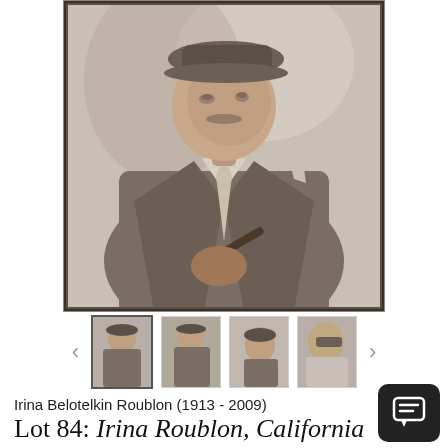[Figure (photo): An impressionist oil painting of an elderly man wearing a hat and suit, holding a pipe, painted in warm muted tones. Displayed as a framed auction lot image with a thumbnail carousel below showing 4 thumbnail views.]
Irina Belotelkin Roublon (1913 - 2009)
Lot 84: Irina Roublon, California Impressionist Portrait, Oil on Canvas